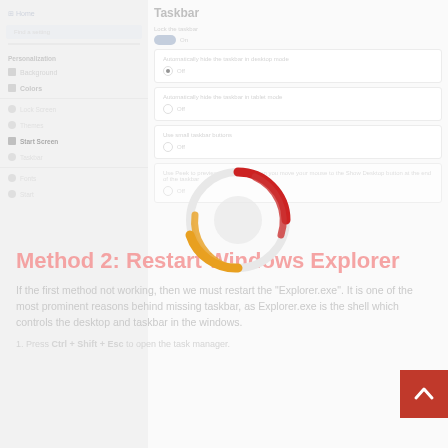Taskbar
If the first method not working, then we must restart the "Explorer.exe". It is one of the most prominent reasons behind missing taskbar, as Explorer.exe is the shell which controls the desktop and taskbar in the windows.
Method 2: Restart Windows Explorer
1. Press Ctrl + Shift + Esc to open the task manager.
[Figure (screenshot): Windows Settings sidebar with navigation items and Taskbar settings panel showing toggle options for taskbar behaviors including locking the taskbar, automatically hide the taskbar in desktop mode, and other options shown as radio buttons and toggles]
[Figure (infographic): Loading spinner with red and orange arcs indicating page loading state]